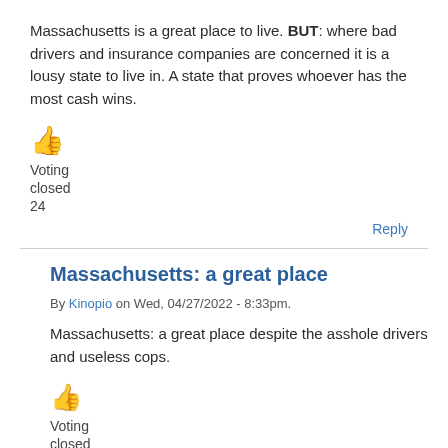Massachusetts is a great place to live. BUT: where bad drivers and insurance companies are concerned it is a lousy state to live in. A state that proves whoever has the most cash wins.
[Figure (illustration): Thumbs up emoji icon in orange/yellow color]
Voting
closed
24
Reply
Massachusetts: a great place
By Kinopio on Wed, 04/27/2022 - 8:33pm.
Massachusetts: a great place despite the asshole drivers and useless cops.
[Figure (illustration): Thumbs up emoji icon in orange/yellow color]
Voting
closed